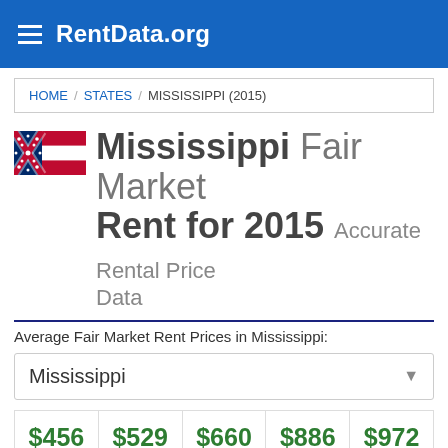RentData.org
HOME / STATES / MISSISSIPPI (2015)
Mississippi Fair Market Rent for 2015 Accurate Rental Price Data
Average Fair Market Rent Prices in Mississippi:
Mississippi
| 0-BR | 1-BR | 2-BR | 3-BR | 4-BR |
| --- | --- | --- | --- | --- |
| $456 | $529 | $660 | $886 | $972 |